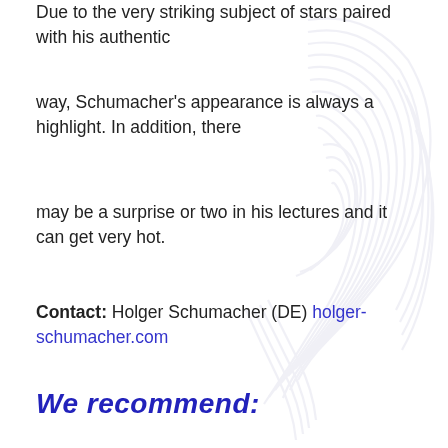Due to the very striking subject of stars paired with his authentic
way, Schumacher's appearance is always a highlight. In addition, there
may be a surprise or two in his lectures and it can get very hot.
Contact: Holger Schumacher (DE) holger-schumacher.com
We recommend: